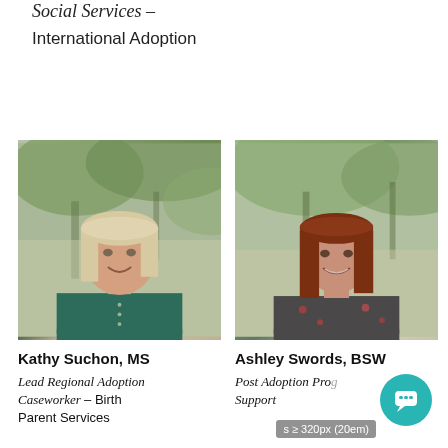Social Services –
International Adoption
[Figure (photo): Headshot of Kathy Suchon, MS — blonde woman in green shirt, smiling outdoors with trees in background]
Kathy Suchon, MS
Lead Regional Adoption Caseworker – Birth Parent Services
[Figure (photo): Headshot of Ashley Swords, BSW — woman with long red hair in floral top, smiling outdoors with trees in background]
Ashley Swords, BSW
Post Adoption Program Support